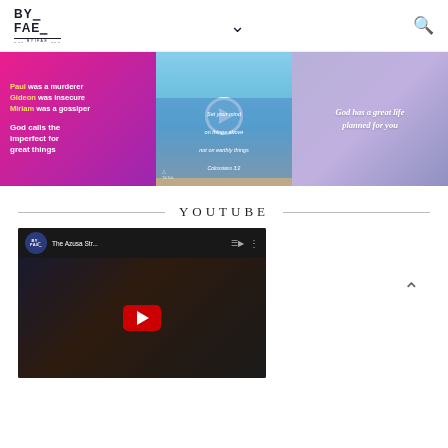[Figure (logo): BYIFAE logo with stylized text in top-left corner]
[Figure (screenshot): Navigation chevron/dropdown arrow in header center]
[Figure (screenshot): Search icon in header top-right]
[Figure (screenshot): Left social card: pink-purple gradient with text 'Paul was a murderer, Gideon was insecure, Miriam was a gossiper. God calls the imperfect for great things']
[Figure (screenshot): Center social card: TikTok video with play button, sky background, text 'Set your mind on things above not on earthly things, Colossians 3:2']
[Figure (screenshot): Right social card: purple gradient with text 'God has a great life planned for you']
YOUTUBE
[Figure (screenshot): YouTube embedded video thumbnail showing 'The Azusa Str...' with BYIFAE logo and red play button on dark background]